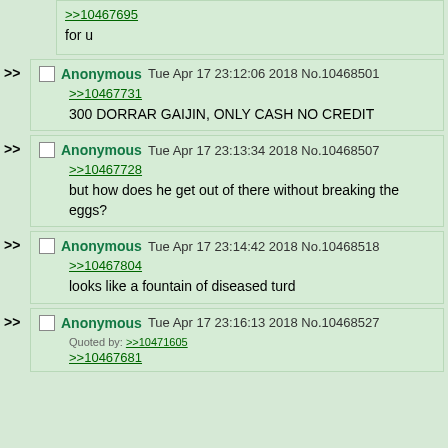>>10467695
for u
Anonymous Tue Apr 17 23:12:06 2018 No.10468501
>>10467731
300 DORRAR GAIJIN, ONLY CASH NO CREDIT
Anonymous Tue Apr 17 23:13:34 2018 No.10468507
>>10467728
but how does he get out of there without breaking the eggs?
Anonymous Tue Apr 17 23:14:42 2018 No.10468518
>>10467804
looks like a fountain of diseased turd
Anonymous Tue Apr 17 23:16:13 2018 No.10468527
Quoted by: >>10471605
>>10467681